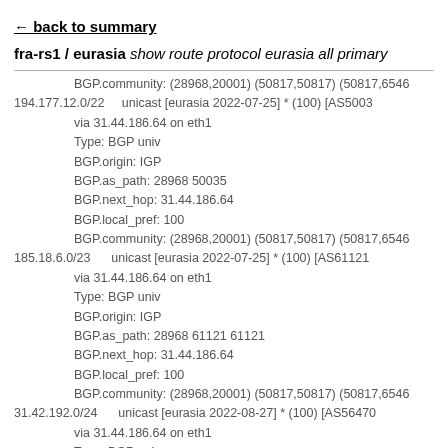← back to summary
fra-rs1 / eurasia show route protocol eurasia all primary
BGP.community: (28968,20001) (50817,50817) (50817,6546
194.177.12.0/22      unicast [eurasia 2022-07-25] * (100) [AS5003
        via 31.44.186.64 on eth1
        Type: BGP univ
        BGP.origin: IGP
        BGP.as_path: 28968 50035
        BGP.next_hop: 31.44.186.64
        BGP.local_pref: 100
        BGP.community: (28968,20001) (50817,50817) (50817,6546
185.18.6.0/23      unicast [eurasia 2022-07-25] * (100) [AS61121
        via 31.44.186.64 on eth1
        Type: BGP univ
        BGP.origin: IGP
        BGP.as_path: 28968 61121 61121
        BGP.next_hop: 31.44.186.64
        BGP.local_pref: 100
        BGP.community: (28968,20001) (50817,50817) (50817,6546
31.42.192.0/24      unicast [eurasia 2022-08-27] * (100) [AS56470
        via 31.44.186.64 on eth1
        Type: BGP univ
        BGP.origin: IGP